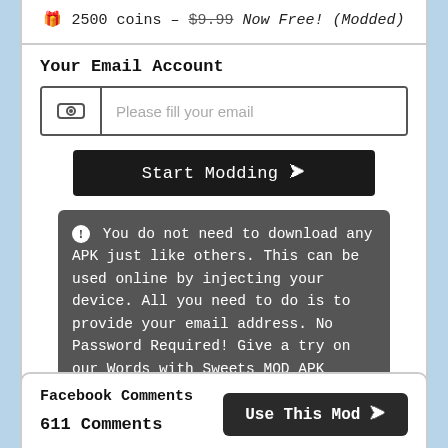🎁 2500 coins - $9.99 Now Free! (Modded)
Your Email Account
Please fill your email
Start Modding ➔
ℹ You do not need to download any APK just like others. This can be used online by injecting your device. All you need to do is to provide your email address. No Password Required! Give a try on our Words with Sweets MOD APK
Facebook Comments
611 Comments
Use This Mod ➔